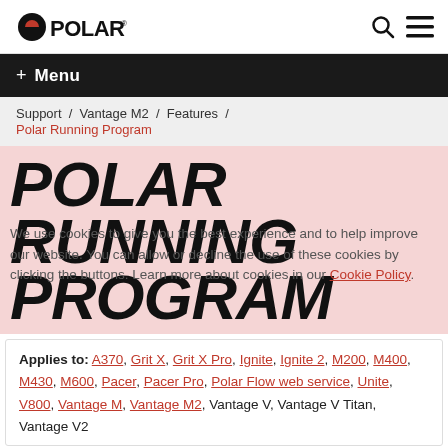POLAR [logo] [search icon] [menu icon]
+ Menu
Support / Vantage M2 / Features / Polar Running Program
POLAR RUNNING PROGRAM
We use cookies to give you the best experience and to help improve our website. You can allow or decline the use of cookies by clicking the buttons. Learn more about cookies in our Cookie Policy.
Applies to: A370, Grit X, Grit X Pro, Ignite, Ignite 2, M200, M400, M430, M600, Pacer, Pacer Pro, Polar Flow web service, Unite, V800, Vantage M, Vantage M2, Vantage V, Vantage V Titan, Vantage V2